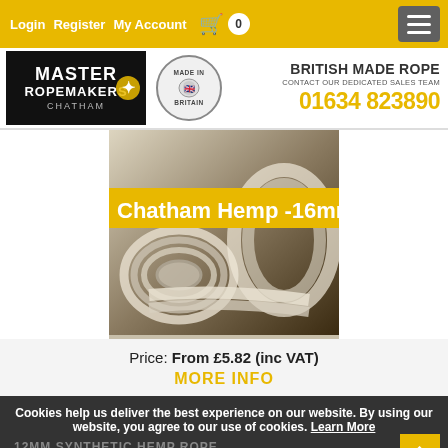Login  Register  My Account  [cart] 0
[Figure (logo): Master Ropemakers Chatham logo on black background with Made in Britain circular stamp and contact info: BRITISH MADE ROPE, CONTACT OUR DEDICATED SALES TEAM, 01634 823890]
[Figure (photo): Photo of hemp rope coils on a wooden surface with text overlay 'Chatham Hemp - 16mm' on yellow banner]
Price: From £5.82 (inc VAT)
MORE INFO
Cookies help us deliver the best experience on our website. By using our website, you agree to our use of cookies. Learn More
12MM SYNTHETIC HEMP ROPE
Continue